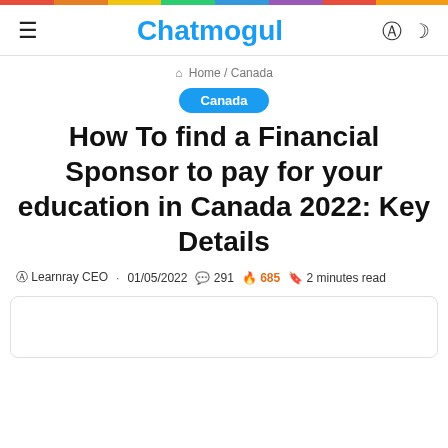Chatmogul
Home / Canada
Canada
How To find a Financial Sponsor to pay for your education in Canada 2022: Key Details
Learnray CEO · 01/05/2022 💬 291 🔥 685 🔖 2 minutes read